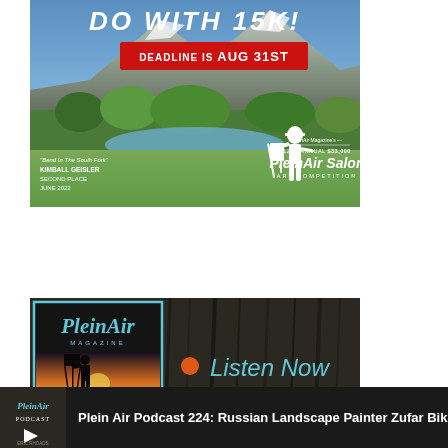[Figure (illustration): PleinAir Magazine's 12th Annual $33,000 PleinAir Salon Art Competition advertisement. Shows mountain landscape painting 'Bend In The South Fork' by Kimball Geisler, Second Place, June 2022. Red banner reads 'DEADLINE IS AUG 31ST'. White silhouette of artist painting outdoors.]
[Figure (illustration): PleinAir Magazine Podcast advertisement with teal border. Left side shows podcast cover with PleinAir Magazine logo and silhouette of artist at easel. Right side shows dark wood texture background with orange dot and 'Listen Now' text in teal.]
Plein Air Podcast 224: Russian Landscape Painter Zufar Bikbo